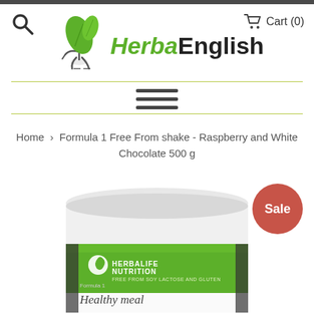Cart (0)
[Figure (logo): HerbaEnglish logo with green running leaf mascot and stylized italic green and bold black text]
[Figure (other): Hamburger menu icon with three horizontal lines]
Home › Formula 1 Free From shake - Raspberry and White Chocolate 500 g
[Figure (photo): Herbalife Nutrition Formula 1 Healthy meal shake tub, white lid, green label with Herbalife Nutrition logo, partially cropped. A red Sale badge overlaps the top right.]